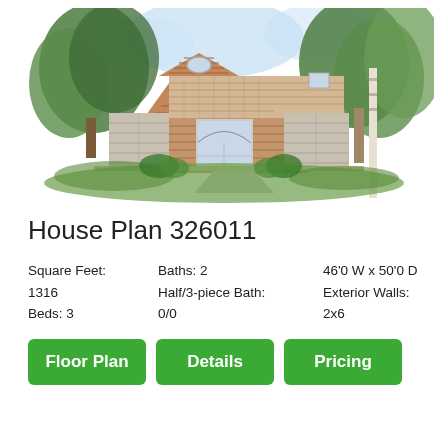[Figure (illustration): Color architectural illustration of a single-story ranch-style house with brick and shingle exterior, arched window, two-car garage, and surrounding trees and landscaping.]
House Plan 326011
Square Feet:
1316
Beds: 3
Baths: 2
Half/3-piece Bath:
0/0
46'0 W x 50'0 D
Exterior Walls:
2x6
Floor Plan
Details
Pricing